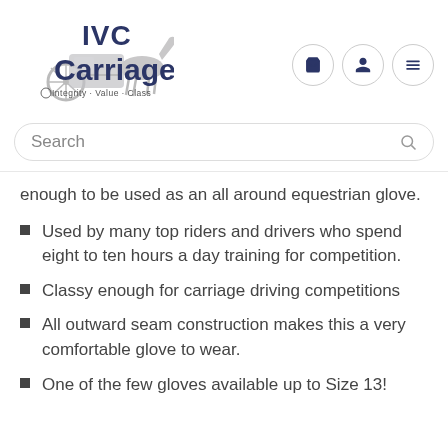[Figure (logo): IVC Carriage logo with horse and carriage illustration, text 'IVC Carriage' and tagline 'Integrity · Value · Class']
Search
enough to be used as an all around equestrian glove.
Used by many top riders and drivers who spend eight to ten hours a day training for competition.
Classy enough for carriage driving competitions
All outward seam construction makes this a very comfortable glove to wear.
One of the few gloves available up to Size 13!